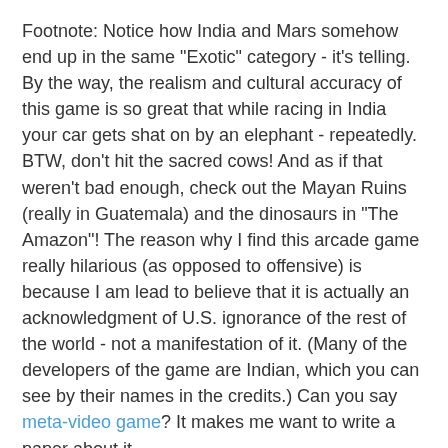Footnote: Notice how India and Mars somehow end up in the same "Exotic" category - it's telling. By the way, the realism and cultural accuracy of this game is so great that while racing in India your car gets shat on by an elephant - repeatedly. BTW, don't hit the sacred cows! And as if that weren't bad enough, check out the Mayan Ruins (really in Guatemala) and the dinosaurs in "The Amazon"! The reason why I find this arcade game really hilarious (as opposed to offensive) is because I am lead to believe that it is actually an acknowledgment of U.S. ignorance of the rest of the world - not a manifestation of it. (Many of the developers of the game are Indian, which you can see by their names in the credits.) Can you say meta-video game? It makes me want to write a paper about it.
Next I will catch a movie at Grand Cinemas for $3.25 (If you didn't see Knocked Up I strongly recommend it - it's a surprisingly smart film.) I'll be getting a Pepsi Freeze for me and a free Pepsi Freeze for my date. But Wednesdays are dollar days so I'll also buy him a bag of popcorn because I'm generous like that.